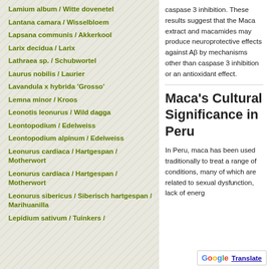Lamium album / Witte dovenetel
Lantana camara / Wisselbloem
Lapsana communis / Akkerkool
Larix decidua / Larix
Lathraea sp. / Schubwortel
Laurus nobilis / Laurier
Lavandula x hybrida 'Grosso'
Lemna minor / Kroos
Leonotis leonurus / Wild dagga
Leontopodium / Edelweiss
Leontopodium alpinum / Edelweiss
Leonurus cardiaca / Hartgespan / Motherwort
Leonurus cardiaca / Hartgespan / Motherwort
Leonurus sibericus / Siberisch hartgespan / Marihuanilla
Lepidium sativum / Tuinkers /
caspase 3 inhibition. These results suggest that the Maca extract and macamides may produce neuroprotective effects against Aβ by mechanisms other than caspase 3 inhibition or an antioxidant effect.
Maca's Cultural Significance in Peru
In Peru, maca has been used traditionally to treat a range of conditions, many of which are related to sexual dys... lack of energ...